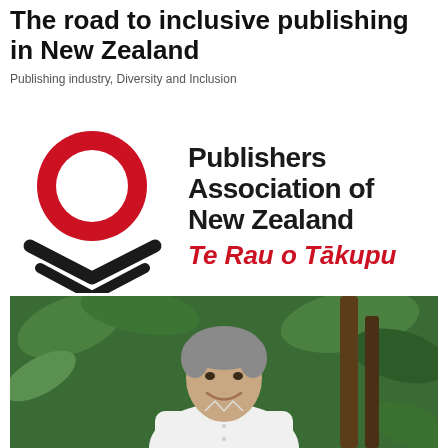The road to inclusive publishing in New Zealand
Publishing industry, Diversity and Inclusion
[Figure (logo): Publishers Association of New Zealand - Te Rau o Tākupu logo featuring a red circle/ring and dark chevron/book icon]
[Figure (photo): Portrait photo of a middle-aged man with grey hair wearing a white shirt, smiling, with tropical green foliage in the background]